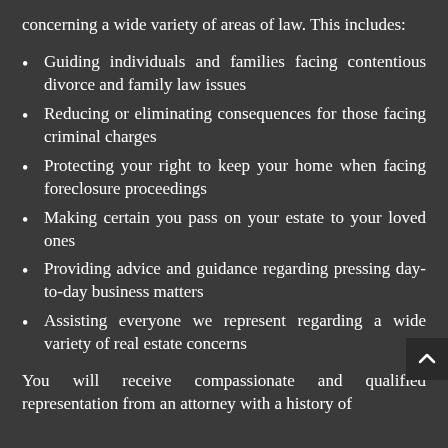concerning a wide variety of areas of law. This includes:
Guiding individuals and families facing contentious divorce and family law issues
Reducing or eliminating consequences for those facing criminal charges
Protecting your right to keep your home when facing foreclosure proceedings
Making certain you pass on your estate to your loved ones
Providing advice and guidance regarding pressing day-to-day business matters
Assisting everyone we represent regarding a wide variety of real estate concerns
You will receive compassionate and qualified representation from an attorney with a history of